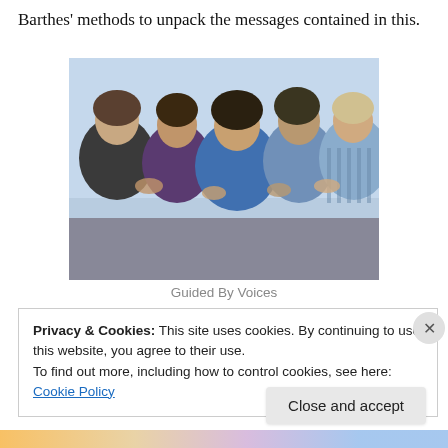Barthes' methods to unpack the messages contained in this.
[Figure (photo): Group photo of five members of the band Guided By Voices, posed together against a light background. They are casually dressed.]
Guided By Voices
Privacy & Cookies: This site uses cookies. By continuing to use this website, you agree to their use.
To find out more, including how to control cookies, see here: Cookie Policy
Close and accept